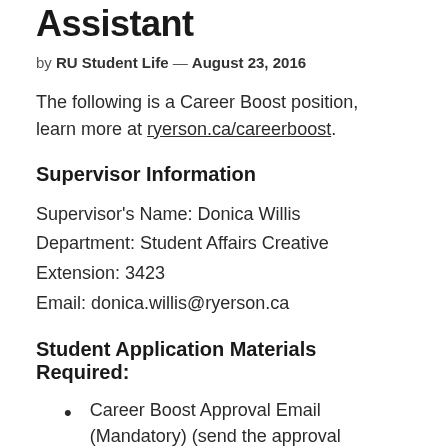Assistant
by RU Student Life — August 23, 2016
The following is a Career Boost position, learn more at ryerson.ca/careerboost.
Supervisor Information
Supervisor's Name: Donica Willis
Department: Student Affairs Creative
Extension: 3423
Email: donica.willis@ryerson.ca
Student Application Materials Required:
Career Boost Approval Email (Mandatory) (send the approval...